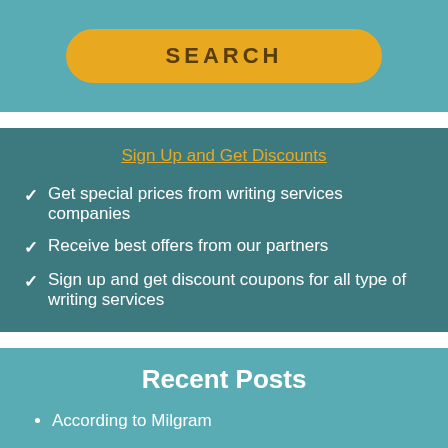SEARCH
Sign Up and Get Discounts
Get special prices from writing services companies
Receive best offers from our partners
Sign up and get discount coupons for all type of writing services
Recent Posts
According to Milgram